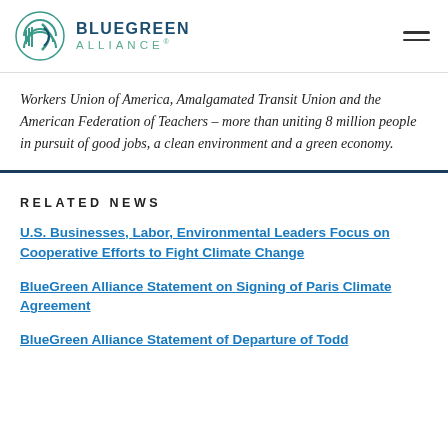BLUEGREEN ALLIANCE
Workers Union of America, Amalgamated Transit Union and the American Federation of Teachers – more than uniting 8 million people in pursuit of good jobs, a clean environment and a green economy.
RELATED NEWS
U.S. Businesses, Labor, Environmental Leaders Focus on Cooperative Efforts to Fight Climate Change
BlueGreen Alliance Statement on Signing of Paris Climate Agreement
BlueGreen Alliance Statement of Departure of Todd